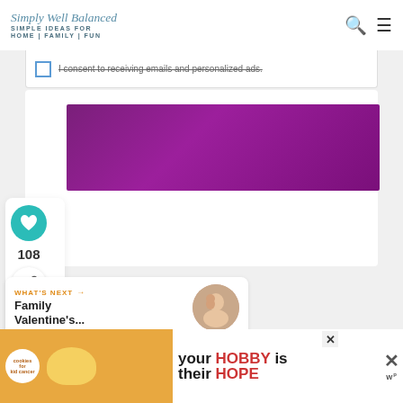Simply Well Balanced — SIMPLE IDEAS FOR HOME|FAMILY|FUN
I consent to receiving emails and personalized ads.
[Figure (other): Purple/magenta rectangular banner advertisement]
[Figure (other): Heart/save button with teal circular background]
108
[Figure (other): Share button icon]
WHAT'S NEXT → Family Valentine's...
[Figure (photo): Thumbnail photo of family for Valentine's article]
[Figure (other): Advertisement: cookies for kid cancer - your HOBBY is their HOPE]